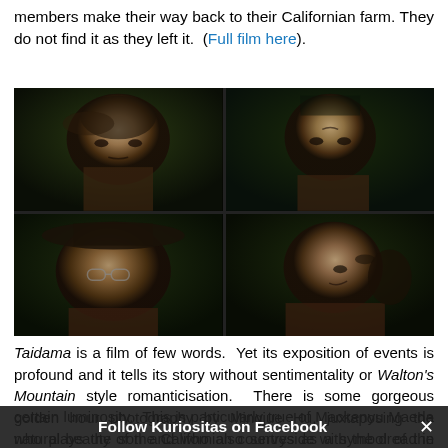members make their way back to their Californian farm. They do not find it as they left it. (Full film here).
[Figure (photo): A 2x2 grid of four film still portraits showing Japanese or Japanese-American characters with serious expressions against green outdoor backgrounds. Top-left: middle-aged woman. Top-right: young woman. Bottom-left: older man wearing hat and glasses. Bottom-right: older woman in profile.]
Taidama is a film of few words. Yet its exposition of events is profound and it tells its story without sentimentality or Walton's Mountain style romanticisation. There is some gorgeous golden hour photography by Mingjue Hu, juxtaposing the natural beauty of the Californian countryside with the dread in the heart of the returnees, giving the cast a certain luminosity. This is particularly true of Mackenyu Maeda who plays the son and who also serves as a symbol of the future of Japanese American citizenry. We'll be seeing
Follow Kuriositas on Facebook